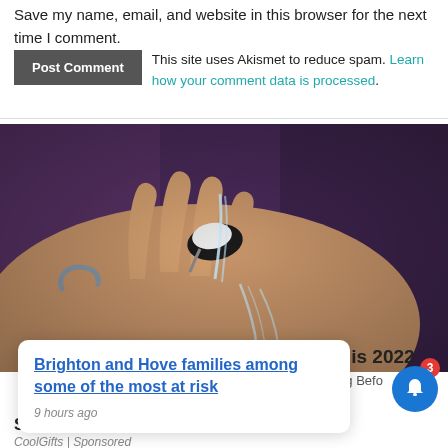Save my name, email, and website in this browser for the next time I comment.
This site uses Akismet to reduce spam. Learn how your comment data is processed.
[Figure (photo): A hand with a ring-shaped faucet device, water flowing over fingers.]
x
Brighton and Hove families among some of the most at risk
9 hours ago
This 2022
tting Befo
Sell Out
CoolGifts | Sponsored